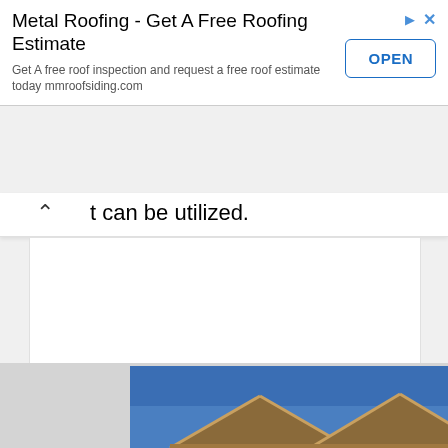[Figure (infographic): Advertisement banner for Metal Roofing with title 'Metal Roofing - Get A Free Roofing Estimate', body text 'Get A free roof inspection and request a free roof estimate today mmroofsiding.com', an OPEN button, and ad indicator icons (triangle and X).]
t can be utilized.
[Figure (photo): Photo of a rooftop with angular metal or tile roofing against a blue sky.]